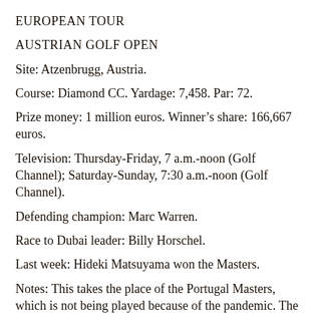EUROPEAN TOUR
AUSTRIAN GOLF OPEN
Site: Atzenbrugg, Austria.
Course: Diamond CC. Yardage: 7,458. Par: 72.
Prize money: 1 million euros. Winner’s share: 166,667 euros.
Television: Thursday-Friday, 7 a.m.-noon (Golf Channel); Saturday-Sunday, 7:30 a.m.-noon (Golf Channel).
Defending champion: Marc Warren.
Race to Dubai leader: Billy Horschel.
Last week: Hideki Matsuyama won the Masters.
Notes: This takes the place of the Portugal Masters, which is not being played because of the pandemic. The Portugal